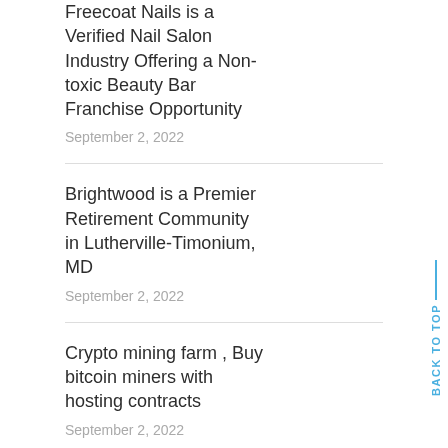Freecoat Nails is a Verified Nail Salon Industry Offering a Non-toxic Beauty Bar Franchise Opportunity
September 2, 2022
Brightwood is a Premier Retirement Community in Lutherville-Timonium, MD
September 2, 2022
Crypto mining farm , Buy bitcoin miners with hosting contracts
September 2, 2022